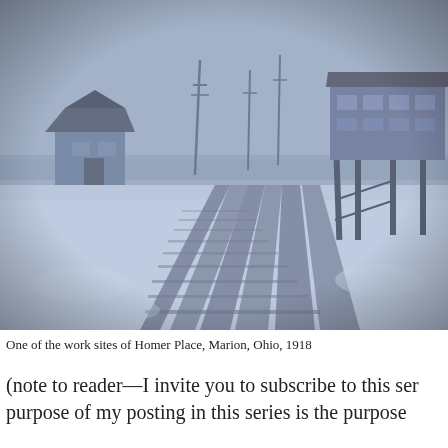[Figure (photo): Black and white (blue-tinted) historical photograph showing railroad tracks converging at a junction in winter, with snow on the ground. On the left is a small station building and on the right is a larger elevated signal/switch tower. Utility poles are visible in the background. The photo has a grainy, aged quality typical of early 20th century photography.]
One of the work sites of Homer Place, Marion, Ohio, 1918
(note to reader—I invite you to subscribe to this ser purpose of my posting in this series is the purpose